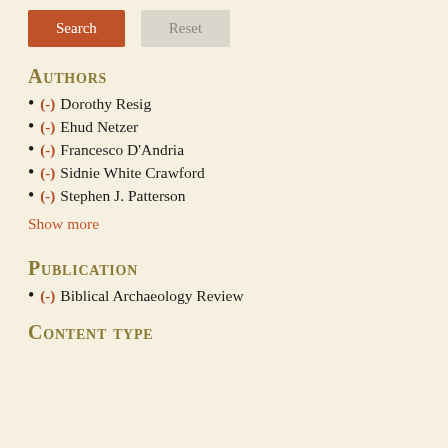Authors
(-) Dorothy Resig
(-) Ehud Netzer
(-) Francesco D'Andria
(-) Sidnie White Crawford
(-) Stephen J. Patterson
Show more
Publication
(-) Biblical Archaeology Review
Content type